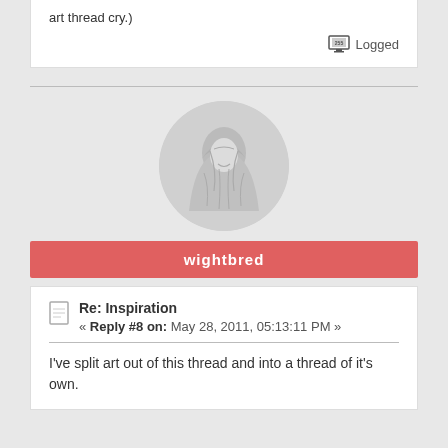art thread cry.)
Logged
[Figure (illustration): Circular avatar with a illustrated figure wearing a hooded cloak, drawn in light gray tones]
wightbred
Re: Inspiration
« Reply #8 on: May 28, 2011, 05:13:11 PM »
I've split art out of this thread and into a thread of it's own.